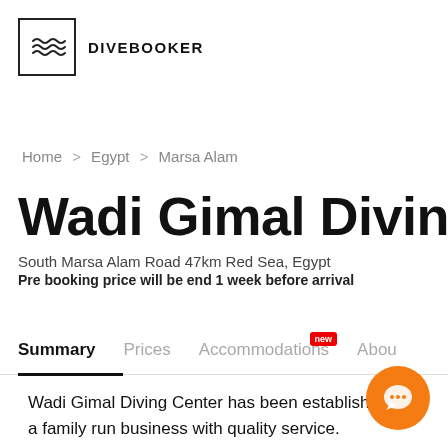[Figure (logo): DiveBooker logo with wave icon in a square box and text DIVEBOOKER]
Home > Egypt > Marsa Alam
Wadi Gimal Diving Center
South Marsa Alam Road 47km Red Sea, Egypt
Pre booking price will be end 1 week before arrival
Summary | Prices | Accommodations [new] | About
Wadi Gimal Diving Center has been established as a family run business with quality service. Experienced